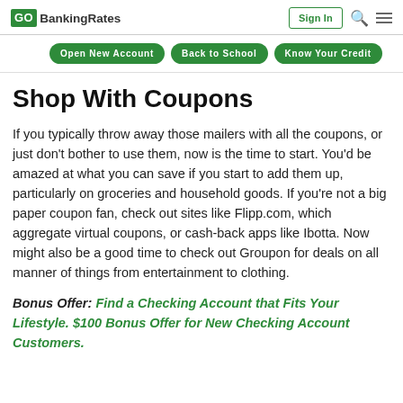GO BankingRates | Sign In | Search | Menu
Open New Account | Back to School | Know Your Credit
Shop With Coupons
If you typically throw away those mailers with all the coupons, or just don't bother to use them, now is the time to start. You'd be amazed at what you can save if you start to add them up, particularly on groceries and household goods. If you're not a big paper coupon fan, check out sites like Flipp.com, which aggregate virtual coupons, or cash-back apps like Ibotta. Now might also be a good time to check out Groupon for deals on all manner of things from entertainment to clothing.
Bonus Offer: Find a Checking Account that Fits Your Lifestyle. $100 Bonus Offer for New Checking Account Customers.